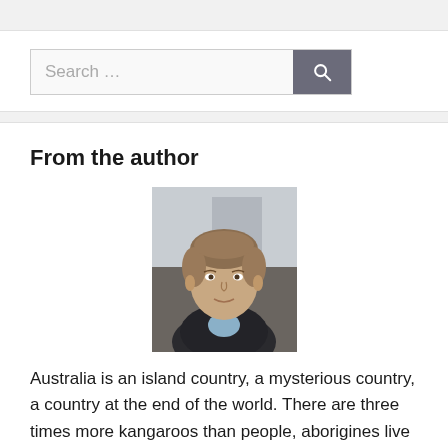From the author
[Figure (photo): Headshot of a man with short brown hair, wearing a dark suit jacket and light blue shirt, smiling slightly, with a blurred background.]
Australia is an island country, a mysterious country, a country at the end of the world. There are three times more kangaroos than people, aborigines live there, they build